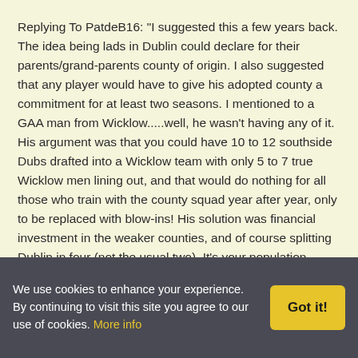Replying To PatdeB16:  "I suggested this a few years back. The idea being lads in Dublin could declare for their parents/grand-parents county of origin. I also suggested that any player would have to give his adopted county a commitment for at least two seasons. I mentioned to a GAA man from Wicklow.....well, he wasn't having any of it. His argument was that you could have 10 to 12 southside Dubs drafted into a Wicklow team with only 5 to 7 true Wicklow men lining out, and that would do nothing for all those who train with the county squad year after year, only to be replaced with blow-ins! His solution was financial investment in the weaker counties, and of course splitting Dublin in four (not the usual two). It's your population advantage, he said
All very well, I pointed out, if investment was the only problem, how come Mayo have yet to win an All-Ireland.
We use cookies to enhance your experience. By continuing to visit this site you agree to our use of cookies. More info